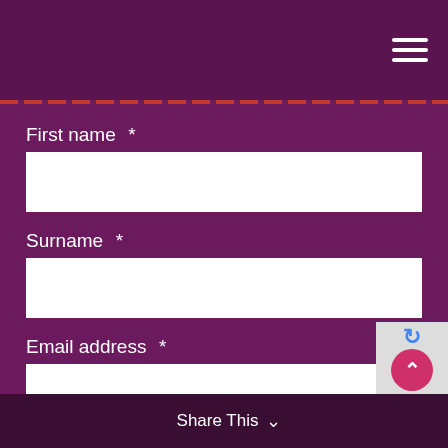[Figure (screenshot): Navigation hamburger menu icon (three horizontal white lines) in purple header bar]
First name *
Surname *
Email address *
Select events of interest *
Cambridge
Cardiff
London
Manchester
Exeter
Share This